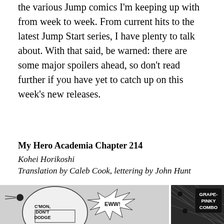the various Jump comics I'm keeping up with from week to week. From current hits to the latest Jump Start series, I have plenty to talk about. With that said, be warned: there are some major spoilers ahead, so don't read further if you have yet to catch up on this week's new releases.
My Hero Academia Chapter 214
Kohei Horikoshi
Translation by Caleb Cook, lettering by John Hunt
[Figure (illustration): Manga panel from My Hero Academia Chapter 214 showing action scenes. Left panel: character speech bubble reading C'MON, DON'T DODGE with EWW! text. Right panel: action scene with GRAPE-PINKY COMBO text in bold white letters on black background.]